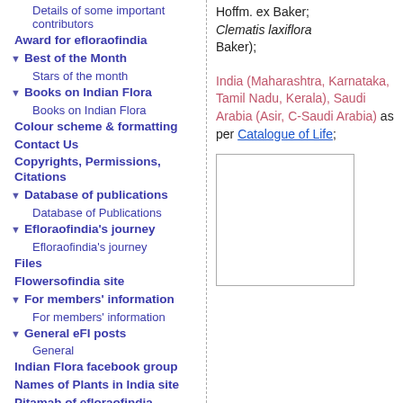Details of some important contributors
Award for efloraofindia
Best of the Month
Stars of the month
Books on Indian Flora
Books on Indian Flora
Colour scheme & formatting
Contact Us
Copyrights, Permissions, Citations
Database of publications
Database of Publications
Efloraofindia's journey
Efloraofindia's journey
Files
Flowersofindia site
For members' information
For members' information
General eFI posts
General
Indian Flora facebook group
Names of Plants in India site
Pitamah of efloraofindia
Hoffm. ex Baker; Clematis laxiflora Baker);
India (Maharashtra, Karnataka, Tamil Nadu, Kerala), Saudi Arabia (Asir, C-Saudi Arabia) as per Catalogue of Life;
[Figure (photo): White photo/image box placeholder in lower right column]